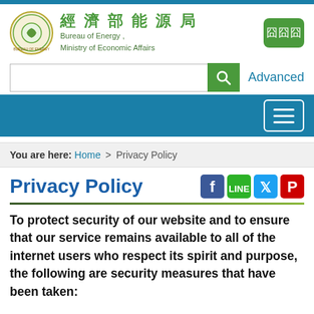[Figure (logo): Bureau of Energy, Ministry of Economic Affairs logo - circular emblem with Chinese text and English text]
經濟部能源局
Bureau of Energy ,
Ministry of Economic Affairs
You are here: Home > Privacy Policy
Privacy Policy
To protect security of our website and to ensure that our service remains available to all of the internet users who respect its spirit and purpose, the following are security measures that have been taken: